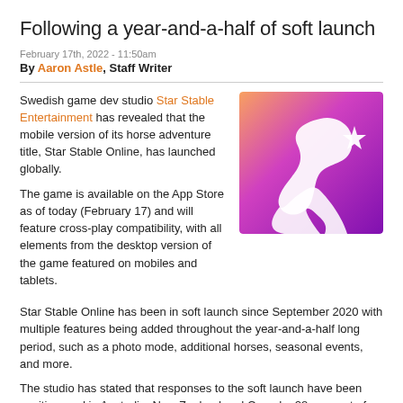Following a year-and-a-half of soft launch
February 17th, 2022 - 11:50am
By Aaron Astle, Staff Writer
Swedish game dev studio Star Stable Entertainment has revealed that the mobile version of its horse adventure title, Star Stable Online, has launched globally.
[Figure (logo): Star Stable Entertainment app icon — gradient background from pink/orange to purple with white horse/star logo]
The game is available on the App Store as of today (February 17) and will feature cross-play compatibility, with all elements from the desktop version of the game featured on mobiles and tablets.
Star Stable Online has been in soft launch since September 2020 with multiple features being added throughout the year-and-a-half long period, such as a photo mode, additional horses, seasonal events, and more.
The studio has stated that responses to the soft launch have been positive, and in Australia, New Zealand and Canada, 28 per cent of players are now using the iOS version of the game over the PC version.